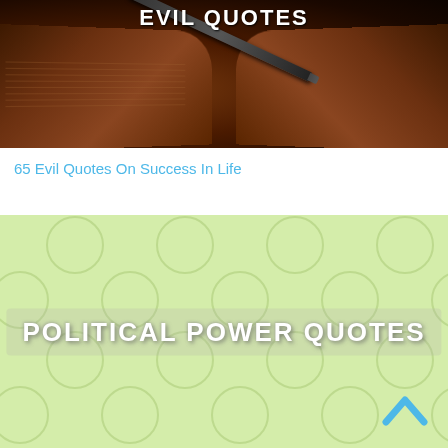[Figure (photo): Dark photo of an open book with a black pen/pencil resting across the pages, with partial white bold text visible at top reading 'EVIL QUOTES']
65 Evil Quotes On Success In Life
[Figure (illustration): Light green background with repeating circle outlines pattern and bold white text 'POLITICAL POWER QUOTES' centered, with a cyan chevron/up-arrow icon at bottom right]